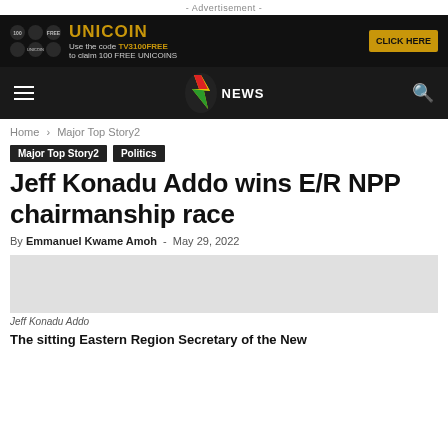- Advertisement -
[Figure (screenshot): UNICOIN advertisement banner: black background with coin graphics on left, UNICOIN text in gold, 'Use the code TV3100FREE to claim 100 FREE UNICOINS', and CLICK HERE button]
[Figure (logo): TV3 News logo: lightning bolt in red/green/yellow with NEWS text, on dark navigation bar with hamburger menu and search icon]
Home › Major Top Story2
Major Top Story2   Politics
Jeff Konadu Addo wins E/R NPP chairmanship race
By Emmanuel Kwame Amoh  -  May 29, 2022
[Figure (photo): Photo of Jeff Konadu Addo (placeholder area)]
Jeff Konadu Addo
The sitting Eastern Region Secretary of the New